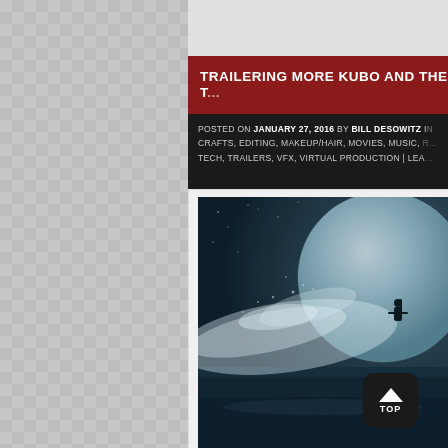TRAILERING MORE KUBO AND THE T...
POSTED ON JANUARY 27, 2016 BY BILL DESOWITZ IN CRAFTS, EDITING, MAKEUP/HAIR, MOVIES, MUSIC, ... TECH, TRAILERS, VFX, VIRTUAL PRODUCTION | LEA...
[Figure (photo): Movie promotional image showing a dramatic ocean wave scene with a large moon in the background and a small silhouette of a figure, likely from Kubo and the Two Strings animated film]